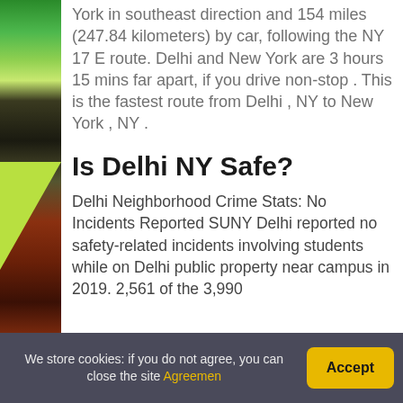York in southeast direction and 154 miles (247.84 kilometers) by car, following the NY 17 E route. Delhi and New York are 3 hours 15 mins far apart, if you drive non-stop . This is the fastest route from Delhi , NY to New York , NY .
Is Delhi NY Safe?
Delhi Neighborhood Crime Stats: No Incidents Reported SUNY Delhi reported no safety-related incidents involving students while on Delhi public property near campus in 2019. 2,561 of the 3,990
We store cookies: if you do not agree, you can close the site Agreemen  Accept